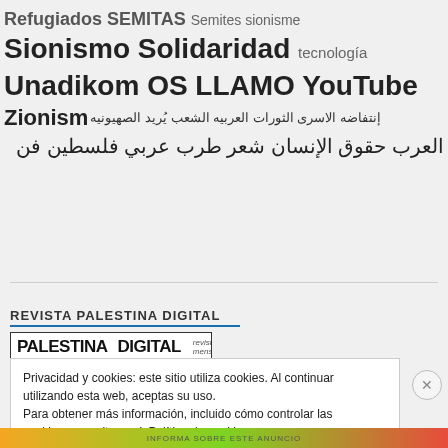Refugiados SEMITAS Semites sionisme Sionismo Solidaridad tecnología Unadikom OS LLAMO YouTube Zionism إنتفاضه الاسرى الثورات العربيه الشعب يُريد الصهيونيه العرب حقوق الإنسان شعر طرب عربي فلسطين فن
REVISTA PALESTINA DIGITAL
[Figure (logo): Palestina Digital magazine cover logo with red and white design, showing 'PALESTINA DIGITAL revista mensual', 'Edita: Abdo Tounsi - TunSol' and QR code, with red banner at bottom saying 'todos los números']
Privacidad y cookies: este sitio utiliza cookies. Al continuar utilizando esta web, aceptas su uso.
Para obtener más información, incluido cómo controlar las cookies, consulta aquí: Política de cookies
Cerrar y aceptar